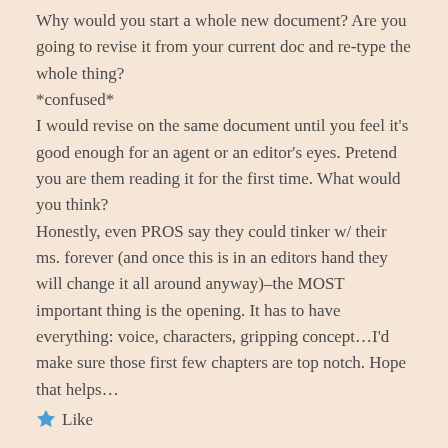Why would you start a whole new document? Are you going to revise it from your current doc and re-type the whole thing?
*confused*
I would revise on the same document until you feel it's good enough for an agent or an editor's eyes. Pretend you are them reading it for the first time. What would you think?
Honestly, even PROS say they could tinker w/ their ms. forever (and once this is in an editors hand they will change it all around anyway)–the MOST important thing is the opening. It has to have everything: voice, characters, gripping concept…I'd make sure those first few chapters are top notch. Hope that helps…
Like